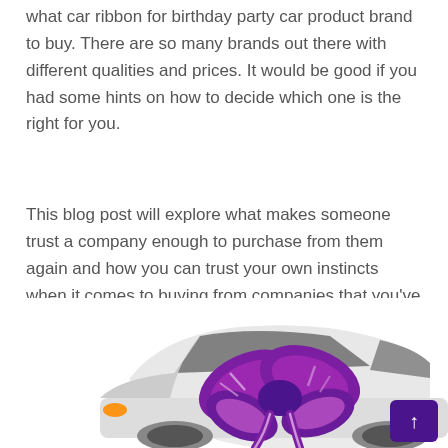what car ribbon for birthday party car product brand to buy. There are so many brands out there with different qualities and prices. It would be good if you had some hints on how to decide which one is the right for you.
This blog post will explore what makes someone trust a company enough to purchase from them again and how you can trust your own instincts when it comes to buying from companies that you've never heard of before.
[Figure (photo): A white car with a large shiny purple/metallic gift bow ribbon on its hood, shown from a three-quarter front view. There is a small purple back-to-top arrow button in the lower right corner of the image.]